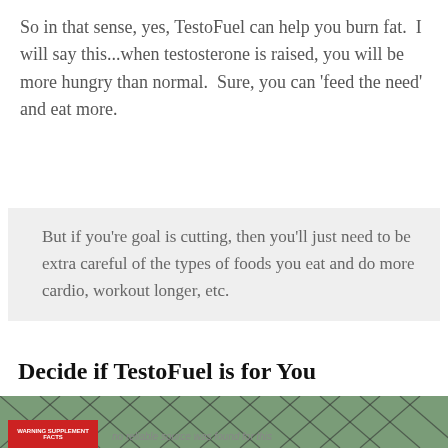So in that sense, yes, TestoFuel can help you burn fat.  I will say this...when testosterone is raised, you will be more hungry than normal.  Sure, you can 'feed the need' and eat more.
But if you're goal is cutting, then you'll just need to be extra careful of the types of foods you eat and do more cardio, workout longer, etc.
Decide if TestoFuel is for You
[Figure (photo): Outdoor photo showing a chain-link fence area with trees in background; a product box with WARNING label visible at bottom left; watermark text partially visible reading 'no reliable source was found for this']